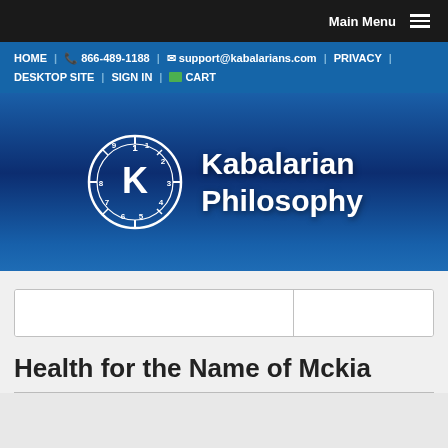Main Menu
HOME | 866-489-1188 | support@kabalarians.com | PRIVACY | DESKTOP SITE | SIGN IN | CART
[Figure (logo): Kabalarian Philosophy logo: clock-like circle with K in center and numbers 1-9, with text Kabalarian Philosophy beside it]
Health for the Name of Mckia